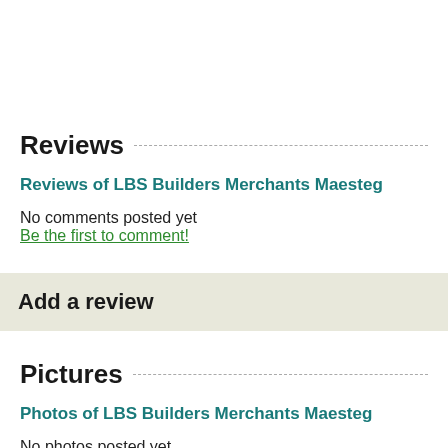Reviews
Reviews of LBS Builders Merchants Maesteg
No comments posted yet
Be the first to comment!
Add a review
Pictures
Photos of LBS Builders Merchants Maesteg
No photos posted yet
Be the first to post a photo!